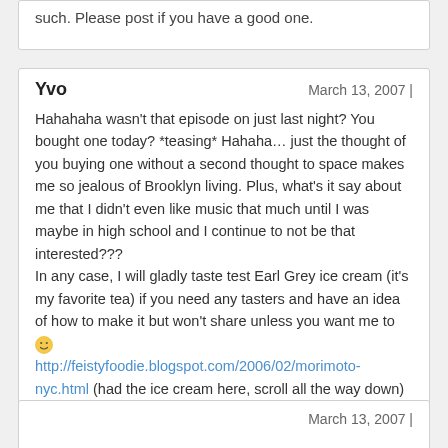such. Please post if you have a good one.
Yvo
March 13, 2007 |
Hahahaha wasn't that episode on just last night? You bought one today? *teasing* Hahaha… just the thought of you buying one without a second thought to space makes me so jealous of Brooklyn living. Plus, what's it say about me that I didn't even like music that much until I was maybe in high school and I continue to not be that interested???
In any case, I will gladly taste test Earl Grey ice cream (it's my favorite tea) if you need any tasters and have an idea of how to make it but won't share unless you want me to 🙂
http://feistyfoodie.blogspot.com/2006/02/morimoto-nyc.html (had the ice cream here, scroll all the way down) … yum.
March 13, 2007 |